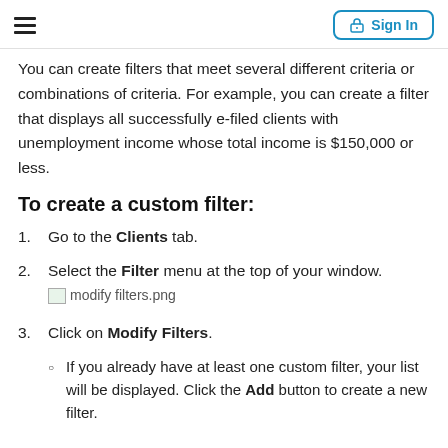Sign In
You can create filters that meet several different criteria or combinations of criteria. For example, you can create a filter that displays all successfully e-filed clients with unemployment income whose total income is $150,000 or less.
To create a custom filter:
1. Go to the Clients tab.
2. Select the Filter menu at the top of your window. [modify filters.png]
3. Click on Modify Filters.
If you already have at least one custom filter, your list will be displayed. Click the Add button to create a new filter.